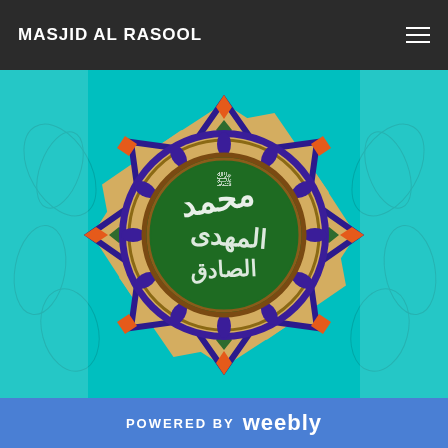MASJID AL RASOOL
[Figure (illustration): Islamic calligraphic medallion with Arabic script on green circle center, surrounded by ornate geometric and floral patterns in blue, gold, and orange on a teal background. The design features an eight-pointed star shape with decorative arabesques.]
POWERED BY weebly